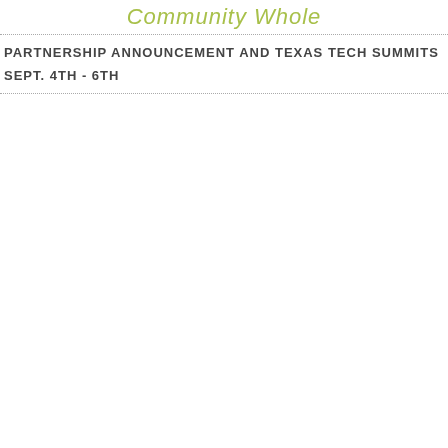Community Whole
PARTNERSHIP ANNOUNCEMENT AND TEXAS TECH SUMMITS
SEPT. 4TH - 6TH